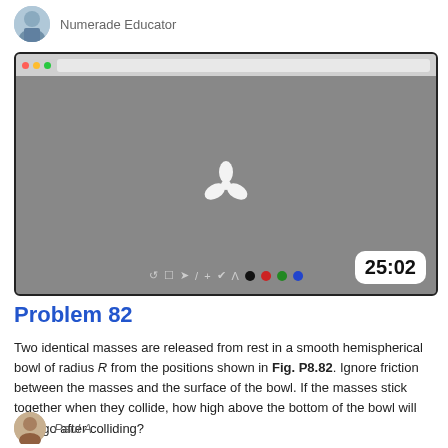Numerade Educator
[Figure (screenshot): Video player screenshot showing a browser with a gray screen and a white spinning loader/play icon in the center, toolbar icons along the bottom, and a timer badge showing 25:02 in the bottom right corner.]
Problem 82
Two identical masses are released from rest in a smooth hemispherical bowl of radius R from the positions shown in Fig. P8.82. Ignore friction between the masses and the surface of the bowl. If the masses stick together when they collide, how high above the bottom of the bowl will they go after colliding?